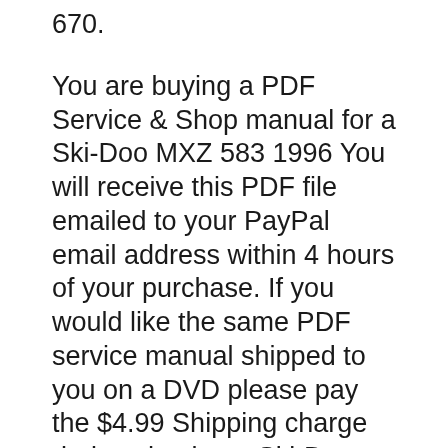670.
You are buying a PDF Service & Shop manual for a Ski-Doo MXZ 583 1996 You will receive this PDF file emailed to your PayPal email address within 4 hours of your purchase. If you would like the same PDF service manual shipped to you on a DVD please pay the $4.99 Shipping charge during checkout. Ski-Doo Snowmobile Manuals This is the BEST, most complete workshop repair and maintenance manual available anywhere on the internet! All of the manual listed below are full factory service manuals (unless otherwise noted) with hundreds of pages containing step by step instructions, full